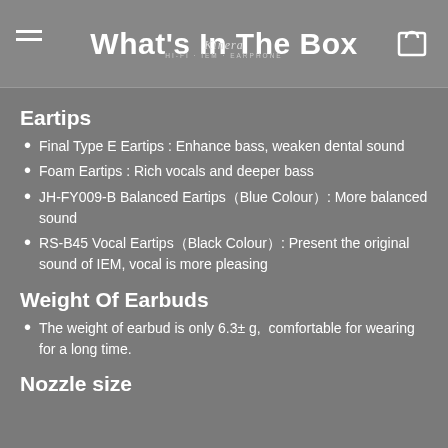What's In The Box
Eartips
Final Type E Eartips : Enhance bass, weaken dental sound
Foam Eartips : Rich vocals and deeper bass
JH-FY009-B Balanced Eartips（Blue Colour）: More balanced sound
RS-B45 Vocal Eartips（Black Colour）: Present the original sound of IEM, vocal is more pleasing
Weight Of Earbuds
The weight of earbud is only 6.3± g,  comfortable for wearing for a long time.
Nozzle size